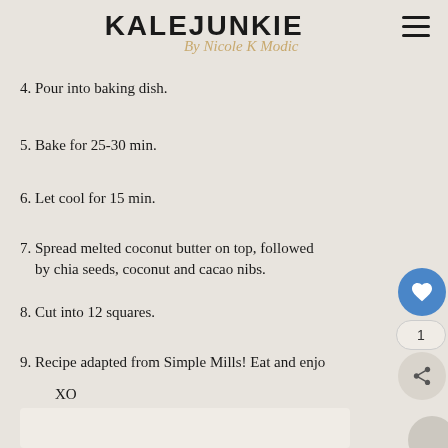KALEJUNKIE By Nicole K Modic
4. Pour into baking dish.
5. Bake for 25-30 min.
6. Let cool for 15 min.
7. Spread melted coconut butter on top, followed by chia seeds, coconut and cacao nibs.
8. Cut into 12 squares.
9. Recipe adapted from Simple Mills! Eat and enjoy XO
[Figure (photo): Bottom portion of a food photo, light background]